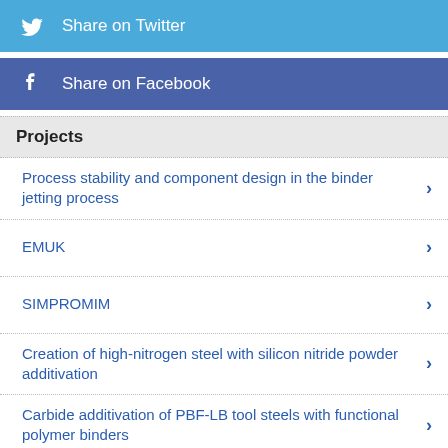Share on Twitter
Share on Facebook
Projects
Process stability and component design in the binder jetting process
EMUK
SIMPROMIM
Creation of high-nitrogen steel with silicon nitride powder additivation
Carbide additivation of PBF-LB tool steels with functional polymer binders